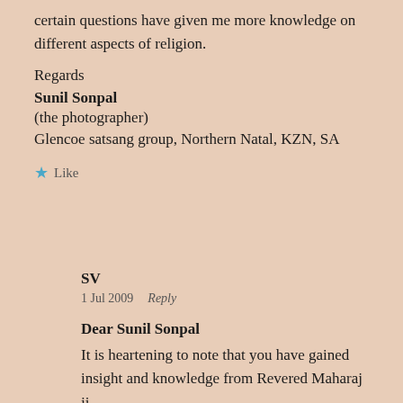certain questions have given me more knowledge on different aspects of religion.
Regards
Sunil Sonpal
(the photographer)
Glencoe satsang group, Northern Natal, KZN, SA
Like
SV
1 Jul 2009   Reply
Dear Sunil Sonpal
It is heartening to note that you have gained insight and knowledge from Revered Maharaj ji.